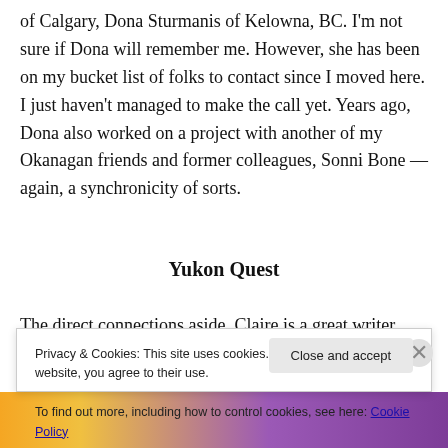of Calgary, Dona Sturmanis of Kelowna, BC. I'm not sure if Dona will remember me. However, she has been on my bucket list of folks to contact since I moved here. I just haven't managed to make the call yet. Years ago, Dona also worked on a project with another of my Okanagan friends and former colleagues, Sonni Bone — again, a synchronicity of sorts.
Yukon Quest
The direct connections aside, Claire is a great writer. While I've just read her blog so far, I know I can learn a lot
Privacy & Cookies: This site uses cookies. By continuing to use this website, you agree to their use.
To find out more, including how to control cookies, see here: Cookie Policy